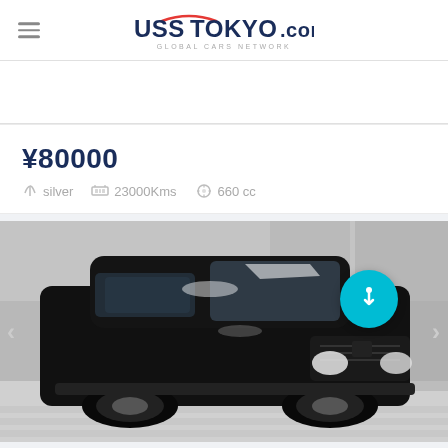UssTokyo.com GLOBAL CARS NETWORK
¥80000
silver   23000Kms   660 cc
[Figure (photo): Black Suzuki Wagon R kei car photographed from the front-left angle in what appears to be an auction facility with concrete walls and floor markings.]